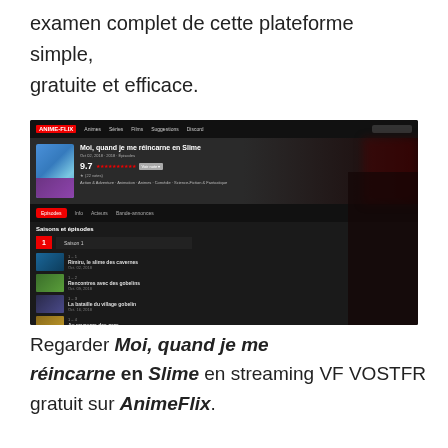examen complet de cette plateforme simple, gratuite et efficace.
[Figure (screenshot): Screenshot of the AnimeFlix website showing the anime 'Moi, quand je me réincarne en Slime' with a rating of 9.7, episode list for Season 1 including multiple episodes with thumbnails.]
Regarder Moi, quand je me réincarne en Slime en streaming VF VOSTFR gratuit sur AnimeFlix.